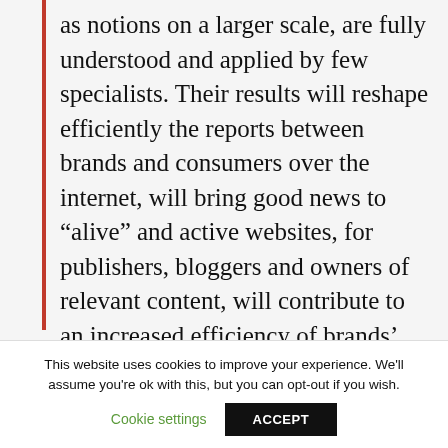as notions on a larger scale, are fully understood and applied by few specialists. Their results will reshape efficiently the reports between brands and consumers over the internet, will bring good news to “alive” and active websites, for publishers, bloggers and owners of relevant content, will contribute to an increased efficiency of brands’ investments in communication. Media Investment’s clients will benefit directly by the expertise offered now by Prometheus.
This website uses cookies to improve your experience. We’ll assume you’re ok with this, but you can opt-out if you wish.
Cookie settings
ACCEPT